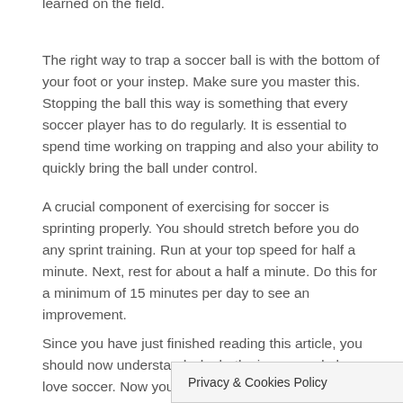learned on the field.
The right way to trap a soccer ball is with the bottom of your foot or your instep. Make sure you master this. Stopping the ball this way is something that every soccer player has to do regularly. It is essential to spend time working on trapping and also your ability to quickly bring the ball under control.
A crucial component of exercising for soccer is sprinting properly. You should stretch before you do any sprint training. Run at your top speed for half a minute. Next, rest for about a half a minute. Do this for a minimum of 15 minutes per day to see an improvement.
Since you have just finished reading this article, you should now understand why both viewers and players love soccer. Now you need to use these tips to better your game. Take wha... art as you set out to enjoy...
Privacy & Cookies Policy